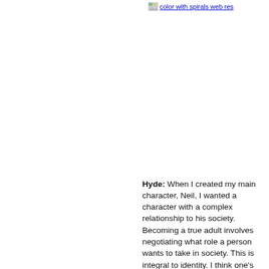[Figure (photo): Broken image placeholder labeled 'color with spirals web res']
Hyde: When I created my main character, Neil, I wanted a character with a complex relationship to his society. Becoming a true adult involves negotiating what role a person wants to take in society. This is integral to identity. I think one's society of origin plays a larger role in people's decisions than they often want to admit.

In my main character, the